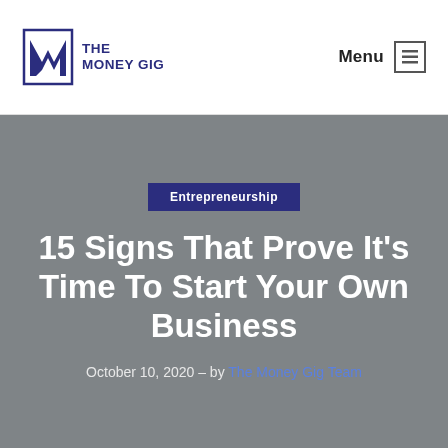[Figure (logo): The Money Gig logo with stylized M icon and text]
Menu
Entrepreneurship
15 Signs That Prove It's Time To Start Your Own Business
October 10, 2020 – by The Money Gig Team